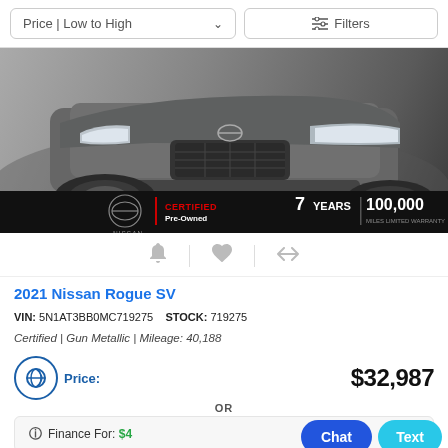Price | Low to High   Filters
[Figure (photo): Front view of a 2021 Nissan Rogue SV in Gun Metallic color, displayed in a showroom. Bottom banner shows Nissan Certified Pre-Owned logo with 7 Years | 100,000 miles limited warranty.]
Bell icon | Heart icon | Compare icon
2021 Nissan Rogue SV
VIN: 5N1AT3BB0MC719275   STOCK: 719275
Certified | Gun Metallic | Mileage: 40,188
Price: $32,987
OR
Finance For: $4...